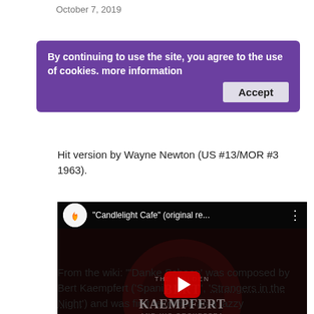October 7, 2019
By continuing to use the site, you agree to the use of cookies. more information  [Accept button]
Hit version by Wayne Newton (US #13/MOR #3 1963).
[Figure (screenshot): YouTube video thumbnail for 'Candlelight Cafe' (original re...) by Bert Kaempfert, showing a dark record album cover with a man's figure and text THE GOLDEN BERT KAEMPFERT AND HIS ORCHESTRA, with a red YouTube play button overlay.]
From the wiki: "'Danke Schoen' was composed by Bert Kaempfert ('Spanish Eyes', 'Strangers in the Night') and was first recorded as a jazzy